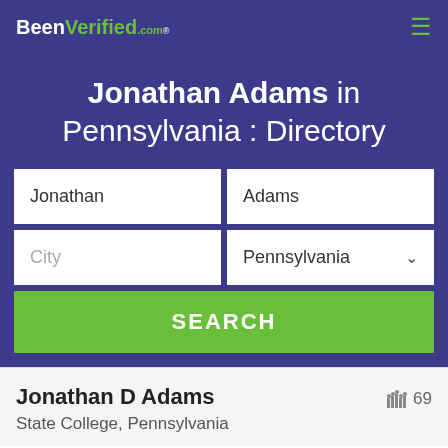BeenVerified.com
Jonathan Adams in Pennsylvania : Directory
Jonathan | Adams | City | Pennsylvania | SEARCH
Jonathan D Adams
State College, Pennsylvania
69